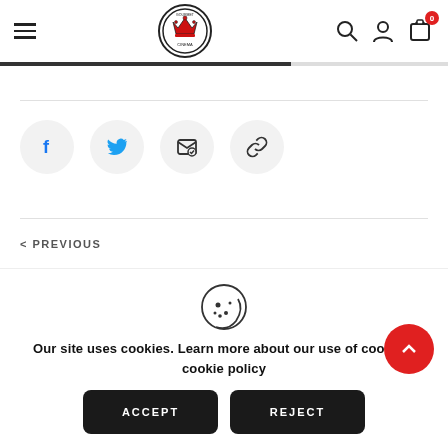[Figure (screenshot): Website header with hamburger menu on left, circular logo in center (crown/chess piece design), and search, account, cart icons on right with cart badge showing 0]
[Figure (infographic): Progress bar showing approximately 65% progress in dark grey, remainder in light grey]
[Figure (infographic): Social sharing buttons row: Facebook (f), Twitter (bird), Email (envelope), Link (chain) — each in circular light grey button]
< PREVIOUS
[Figure (illustration): Cookie icon (circle with bite taken out, dots representing chocolate chips)]
Our site uses cookies. Learn more about our use of cookies: cookie policy
ACCEPT
REJECT